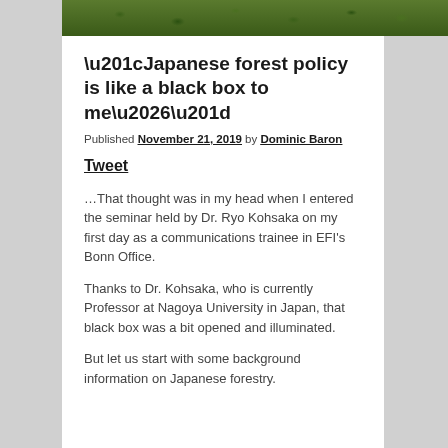[Figure (photo): Aerial or close-up photograph of dense green forest foliage]
“Japanese forest policy is like a black box to me…”
Published November 21, 2019 by Dominic Baron
Tweet
…That thought was in my head when I entered the seminar held by Dr. Ryo Kohsaka on my first day as a communications trainee in EFI’s Bonn Office.
Thanks to Dr. Kohsaka, who is currently Professor at Nagoya University in Japan, that black box was a bit opened and illuminated.
But let us start with some background information on Japanese forestry.